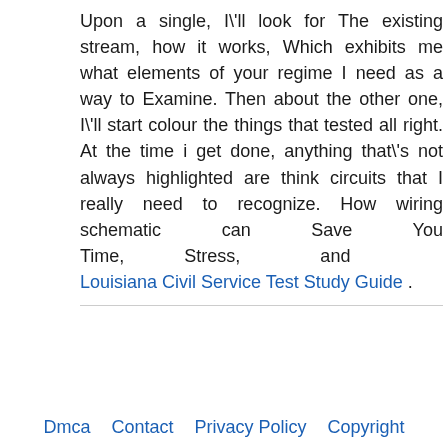Upon a single, I\'ll look for The existing stream, how it works, Which exhibits me what elements of your regime I need as a way to Examine. Then about the other one, I\'ll start colour the things that tested all right. At the time i get done, anything that\'s not always highlighted are think circuits that I really need to recognize. How wiring schematic can Save You Time, Stress, and Money Louisiana Civil Service Test Study Guide .
Dmca   Contact   Privacy Policy   Copyright